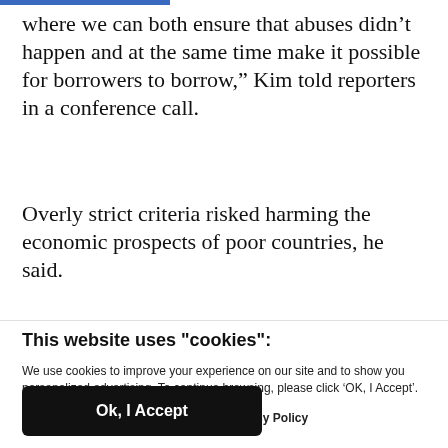where we can both ensure that abuses didn’t happen and at the same time make it possible for borrowers to borrow,” Kim told reporters in a conference call.
Overly strict criteria risked harming the economic prospects of poor countries, he said.
This website uses "cookies":
We use cookies to improve your experience on our site and to show you personalized advertising. To continue browsing, please click ‘OK, I Accept’.
For more information, please read our Privacy Policy
Ok, I Accept